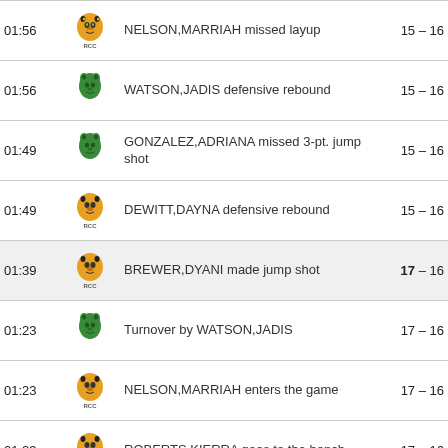| Time | Team | Play | Score |
| --- | --- | --- | --- |
| 01:56 | RCC | NELSON,MARRIAH missed layup | 15 – 16 |
| 01:56 | ELAC | WATSON,JADIS defensive rebound | 15 – 16 |
| 01:49 | ELAC | GONZALEZ,ADRIANA missed 3-pt. jump shot | 15 – 16 |
| 01:49 | RCC | DEWITT,DAYNA defensive rebound | 15 – 16 |
| 01:39 | RCC | BREWER,DYANI made jump shot | 17 – 16 |
| 01:23 | ELAC | Turnover by WATSON,JADIS | 17 – 16 |
| 01:23 | RCC | NELSON,MARRIAH enters the game | 17 – 16 |
| 01:23 | RCC | ROBERTS,KIERRA goes to the bench | 17 – 16 |
| 01:23 | ELAC | GODBOLT,DOMINIQUE enters the game | 17 – 16 |